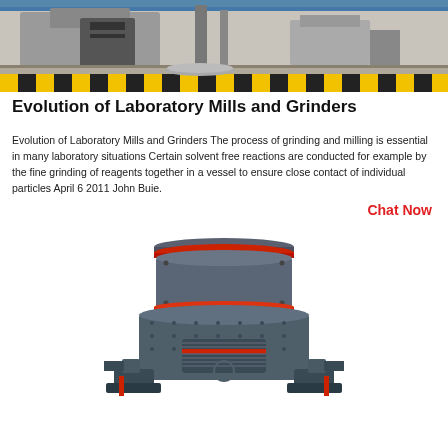[Figure (photo): Industrial facility with machinery, gray metal equipment, hazard stripe flooring with yellow and black diagonal markings, blue overhead structure]
Evolution of Laboratory Mills and Grinders
Evolution of Laboratory Mills and Grinders The process of grinding and milling is essential in many laboratory situations Certain solvent free reactions are conducted for example by the fine grinding of reagents together in a vessel to ensure close contact of individual particles April 6 2011 John Buie.
Chat Now
[Figure (photo): Large industrial vertical mill or grinder machine, dark gray/blue-gray color, with red accent rings/bands, bolted panels, ventilation slots, pipe connections at base, viewed from front]